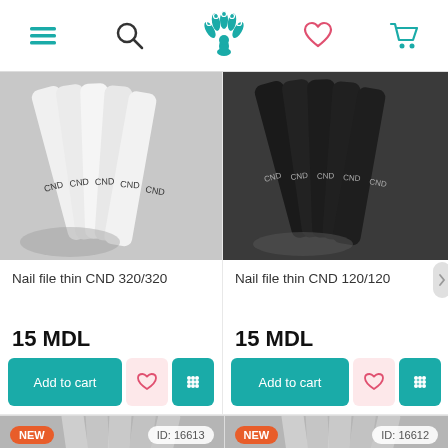Navigation bar with menu, search, peacock logo, heart, and cart icons
[Figure (photo): Hand holding multiple white CND nail files fanned out]
Nail file thin CND 320/320
15 MDL
Add to cart
[Figure (photo): Hand holding multiple black CND nail files fanned out]
Nail file thin CND 120/120
15 MDL
Add to cart
[Figure (photo): Partial product card bottom-left with NEW badge and ID: 16613]
[Figure (photo): Partial product card bottom-right with NEW badge and ID: 16612]